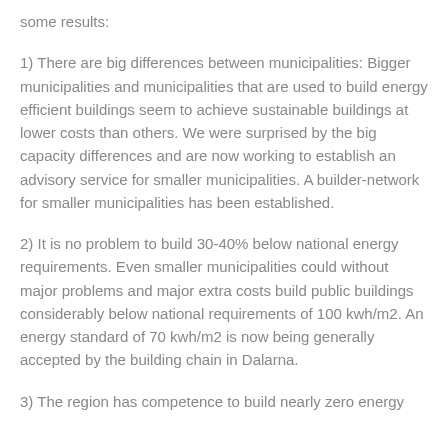some results:
1) There are big differences between municipalities: Bigger municipalities and municipalities that are used to build energy efficient buildings seem to achieve sustainable buildings at lower costs than others. We were surprised by the big capacity differences and are now working to establish an advisory service for smaller municipalities. A builder-network for smaller municipalities has been established.
2) It is no problem to build 30-40% below national energy requirements. Even smaller municipalities could without major problems and major extra costs build public buildings considerably below national requirements of 100 kwh/m2. An energy standard of 70 kwh/m2 is now being generally accepted by the building chain in Dalarna.
3) The region has competence to build nearly zero energy